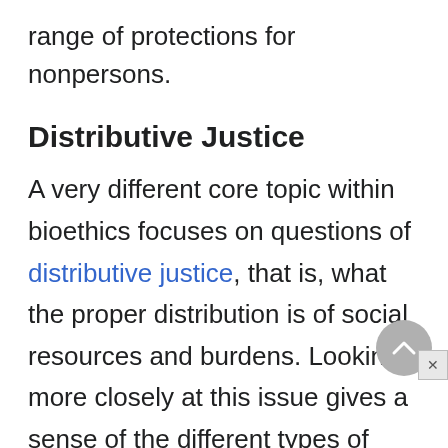range of protections for nonpersons.
Distributive Justice
A very different core topic within bioethics focuses on questions of distributive justice, that is, what the proper distribution is of social resources and burdens. Looking more closely at this issue gives a sense of the different types of theoretical resources brought to bear in bioethics and also shows how the discipline has developed. Issues of distributive